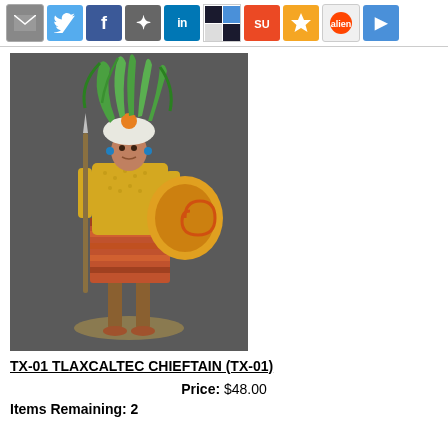Social sharing icons: email, Twitter, Facebook, MySpace, LinkedIn, Delicious, StumbleUpon, Favorites, Reddit, Blue
[Figure (photo): Painted miniature figurine of a Tlaxcaltec Chieftain warrior wearing a yellow tunic, orange skirt, feathered headdress with green plumes, holding a shield and spear, standing on a base.]
TX-01 TLAXCALTEC CHIEFTAIN (TX-01)
Price: $48.00
Items Remaining: 2